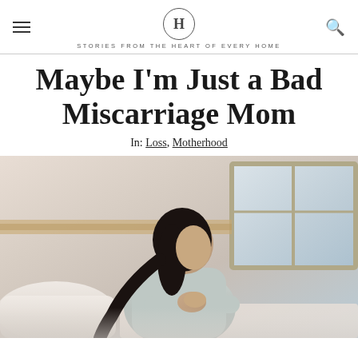H — STORIES FROM THE HEART OF EVERY HOME
Maybe I'm Just a Bad Miscarriage Mom
In: Loss, Motherhood
[Figure (photo): A woman with dark hair sits on a white couch, leaning forward with her chin resting on her hands, looking pensively to the side. A bright window and wooden elements are visible in the background.]